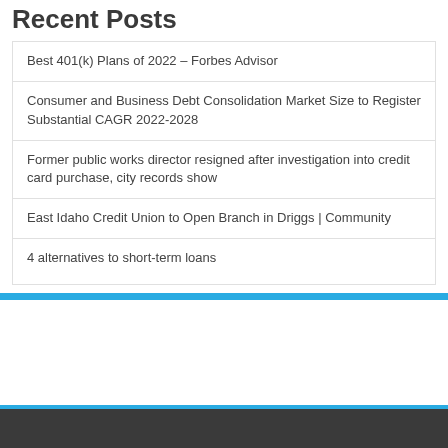Recent Posts
Best 401(k) Plans of 2022 – Forbes Advisor
Consumer and Business Debt Consolidation Market Size to Register Substantial CAGR 2022-2028
Former public works director resigned after investigation into credit card purchase, city records show
East Idaho Credit Union to Open Branch in Driggs | Community
4 alternatives to short-term loans
© Copyright 2022, All Rights Reserved